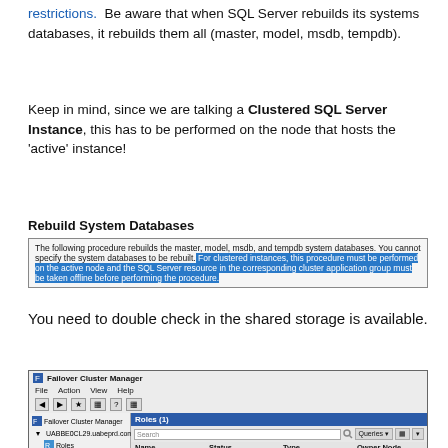restrictions. Be aware that when SQL Server rebuilds its systems databases, it rebuilds them all (master, model, msdb, tempdb).
Keep in mind, since we are talking a Clustered SQL Server Instance, this has to be performed on the node that hosts the 'active' instance!
Rebuild System Databases
The following procedure rebuilds the master, model, msdb, and tempdb system databases. You cannot specify the system databases to be rebuilt. For clustered instances, this procedure must be performed on the active node and the SQL Server resource in the corresponding cluster application group must be taken offline before performing the procedure.
You need to double check in the shared storage is available.
[Figure (screenshot): Failover Cluster Manager window showing tree with UABEDCL29.uabeprd.com node, Roles and Nodes items, and Roles (1) panel with columns Name, Status, Type, Owner Node]